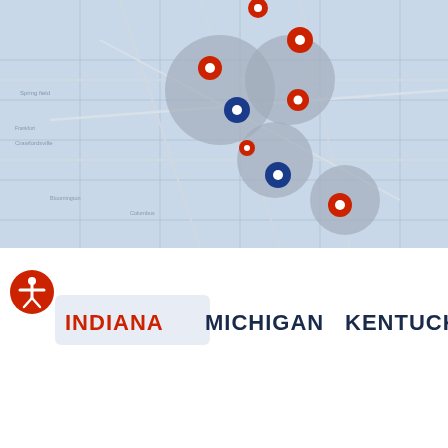[Figure (map): Road map showing the US Midwest region (Indiana, Michigan, Kentucky area) with multiple red and blue location pin markers clustered in the central region, with gray circular cluster indicators. Map labels include cities like Dayton, Columbus, and various other Midwest localities.]
[Figure (illustration): Red circular accessibility icon with white stick figure in arms-out pose]
INDIANA
MICHIGAN
KENTUCKY